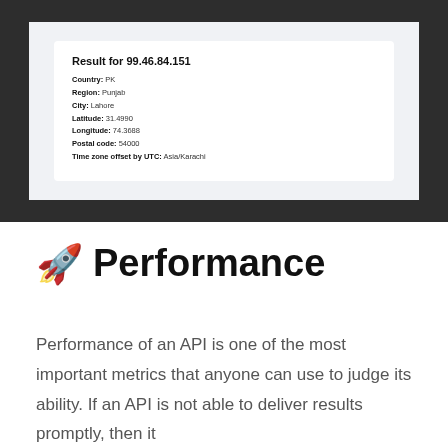[Figure (screenshot): Screenshot of a dark-themed browser window showing a white result card with IP geolocation data for 99.46.84.151, including Country: PK, Region: Punjab, City: Lahore, Latitude: 31.4990, Longitude: 74.3688, Postal code: 54000, Time zone offset by UTC: Asia/Karachi]
🚀 Performance
Performance of an API is one of the most important metrics that anyone can use to judge its ability. If an API is not able to deliver results promptly, then it